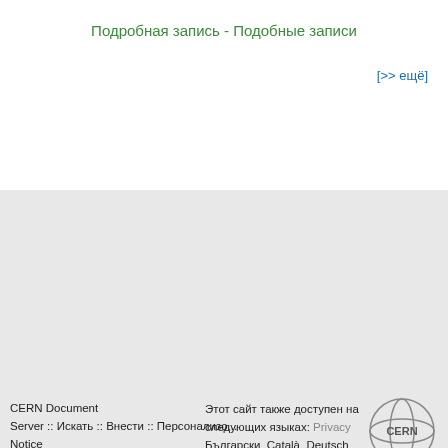Подробная запись - Подобные записи
[>> ещё]
CERN Document Server :: Искать :: Внести :: Персонализировать :: Помощь :: Privacy Notice  Развиваемое Invenio  Поддерживает CDS Service - Need help? Contact CDS Support.  Последнее изменение:: 30 Авг 2022, 22:47  Этот сайт также доступен на следующих языках:  Български Català Deutsch Ελληνικά English Español Français Hrvatski Italiano ქართული Norsk/Bokmål Polski Português Русский Slovensky Svenska 中文(简) 日 中文(繁)